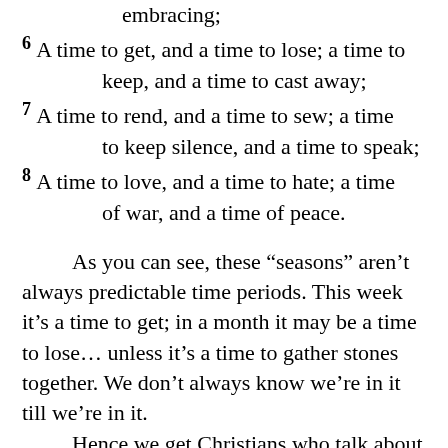embracing;
6 A time to get, and a time to lose; a time to keep, and a time to cast away;
7 A time to rend, and a time to sew; a time to keep silence, and a time to speak;
8 A time to love, and a time to hate; a time of war, and a time of peace.
As you can see, these “seasons” aren’t always predictable time periods. This week it’s a time to get; in a month it may be a time to lose… unless it’s a time to gather stones together. We don’t always know we’re in it till we’re in it.
Hence we get Christians who talk about the season we’re in… and it confuses newbies and pagans who are used to seasons